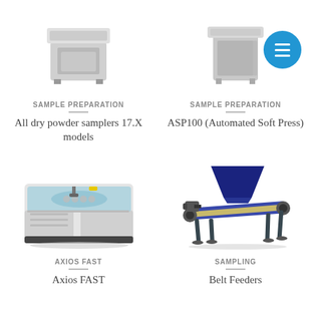[Figure (photo): Partial top view of a dry powder sampler device (cropped at top)]
[Figure (photo): Partial top view of ASP100 Automated Soft Press device (cropped at top)]
SAMPLE PREPARATION
All dry powder samplers 17.X models
SAMPLE PREPARATION
ASP100 (Automated Soft Press)
[Figure (photo): Axios FAST XRF spectrometer instrument, white and grey cabinet with blue glass panel and sample carousel]
AXIOS FAST
Axios FAST
[Figure (photo): Blue belt feeder industrial sampling equipment with hopper and conveyor belt assembly]
SAMPLING
Belt Feeders